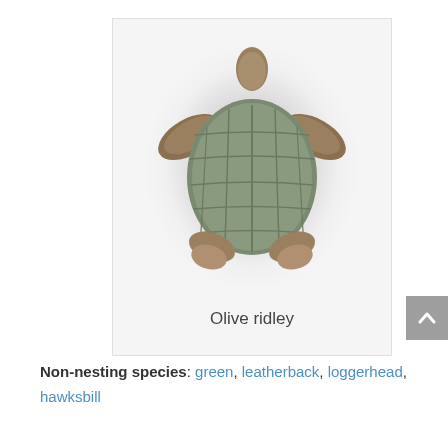[Figure (photo): Top-down view of an olive ridley sea turtle on a white/light grey circular background, within a grey card. The turtle shows its olive-green shell (carapace) with distinct scutes, two front flippers spread to the sides, and two rear flippers at the bottom.]
Olive ridley
Non-nesting species: green, leatherback, loggerhead, hawksbill